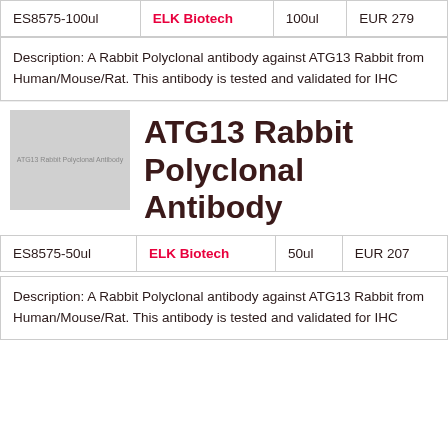| SKU | Supplier | Volume | Price |
| --- | --- | --- | --- |
| ES8575-100ul | ELK Biotech | 100ul | EUR 279 |
Description: A Rabbit Polyclonal antibody against ATG13 Rabbit from Human/Mouse/Rat. This antibody is tested and validated for IHC
[Figure (photo): ATG13 Rabbit Polyclonal Antibody product image placeholder, gray square]
ATG13 Rabbit Polyclonal Antibody
| SKU | Supplier | Volume | Price |
| --- | --- | --- | --- |
| ES8575-50ul | ELK Biotech | 50ul | EUR 207 |
Description: A Rabbit Polyclonal antibody against ATG13 Rabbit from Human/Mouse/Rat. This antibody is tested and validated for IHC